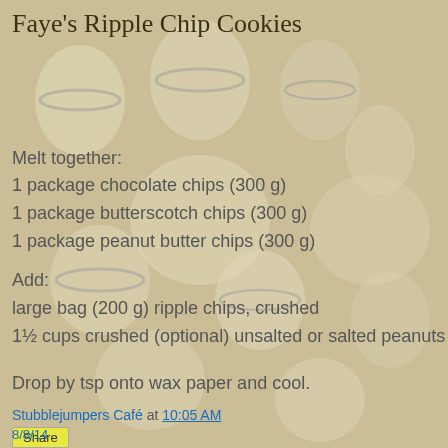[Figure (photo): Background photo of blue and white ceramic mugs, cups, and plates arranged on a surface, partially visible with a warm yellowish-beige overlay.]
Faye's Ripple Chip Cookies
Melt together:
1 package chocolate chips (300 g)
1 package butterscotch chips (300 g)
1 package peanut butter chips (300 g)
Add:
large bag (200 g) ripple chips, crushed
1½ cups crushed (optional) unsalted or salted peanuts
Drop by tsp onto wax paper and cool.
Stubblejumpers Café at 10:05 AM
Share
8/8/14